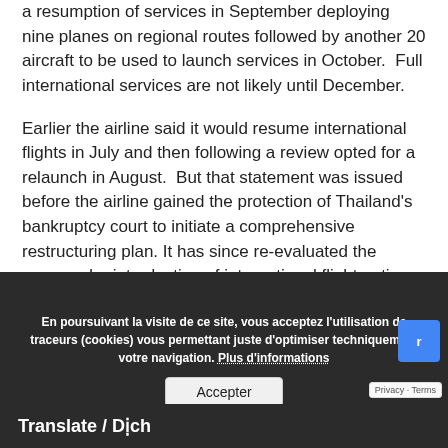a resumption of services in September deploying nine planes on regional routes followed by another 20 aircraft to be used to launch services in October. Full international services are not likely until December.
Earlier the airline said it would resume international flights in July and then following a review opted for a relaunch in August. But that statement was issued before the airline gained the protection of Thailand's bankruptcy court to initiate a comprehensive restructuring plan. It has since re-evaluated the proposed reintroduction of international flight opting for a relaunch in September.
[Figure (screenshot): Cookie consent overlay banner in dark background with French text: 'En poursuivant la visite de ce site, vous acceptez l'utilisation de traceurs (cookies) vous permettant juste d'optimiser techniquement votre navigation. Plus d'informations' and an 'Accepter' button. Behind it, a partial view of TTR Weekly - June 11, 2020 header with QR code. A 'Translate / Dịch' bar at the bottom.]